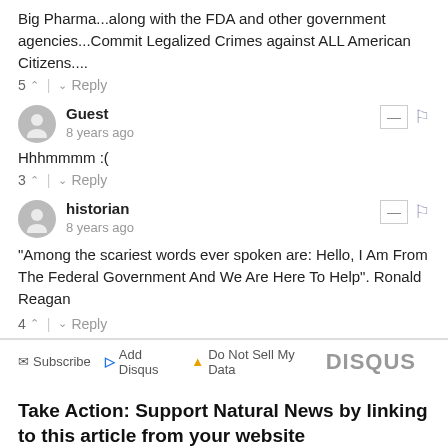Big Pharma...along with the FDA and other government agencies...Commit Legalized Crimes against ALL American Citizens....
5 ^ | v Reply
Guest
8 years ago
Hhhmmmm :(
3 ^ | v Reply
historian
8 years ago
"Among the scariest words ever spoken are: Hello, I Am From The Federal Government And We Are Here To Help". Ronald Reagan
4 ^ | v Reply
Subscribe  Add Disqus  Do Not Sell My Data   DISQUS
Take Action: Support Natural News by linking to this article from your website